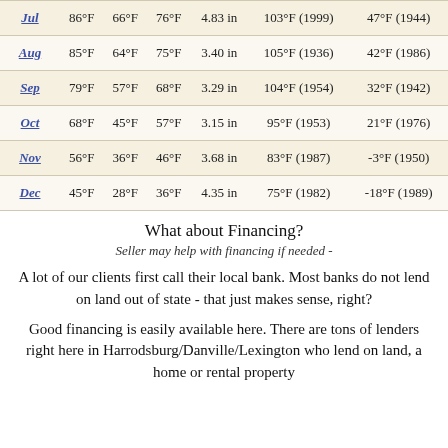| Jul | 86°F | 66°F | 76°F | 4.83 in | 103°F (1999) | 47°F (1944) |
| Aug | 85°F | 64°F | 75°F | 3.40 in | 105°F (1936) | 42°F (1986) |
| Sep | 79°F | 57°F | 68°F | 3.29 in | 104°F (1954) | 32°F (1942) |
| Oct | 68°F | 45°F | 57°F | 3.15 in | 95°F (1953) | 21°F (1976) |
| Nov | 56°F | 36°F | 46°F | 3.68 in | 83°F (1987) | -3°F (1950) |
| Dec | 45°F | 28°F | 36°F | 4.35 in | 75°F (1982) | -18°F (1989) |
What about Financing?
Seller may help with financing if needed -
A lot of our clients first call their local bank. Most banks do not lend on land out of state - that just makes sense, right?
Good financing is easily available here. There are tons of lenders right here in Harrodsburg/Danville/Lexington who lend on land,  a home or rental property